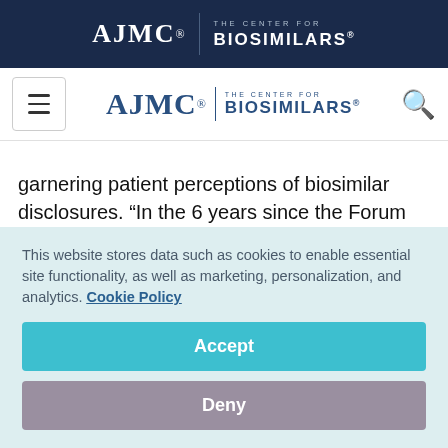AJMC | THE CENTER FOR BIOSIMILARS
[Figure (logo): AJMC The Center for Biosimilars navigation logo with hamburger menu and search icon]
garnering patient perceptions of biosimilar disclosures. “In the 6 years since the Forum was founded, we have found that while knowledge and perceptions of HCPs have increased… knowledge levels of patients are still low,” the
This website stores data such as cookies to enable essential site functionality, as well as marketing, personalization, and analytics. Cookie Policy
Accept
Deny